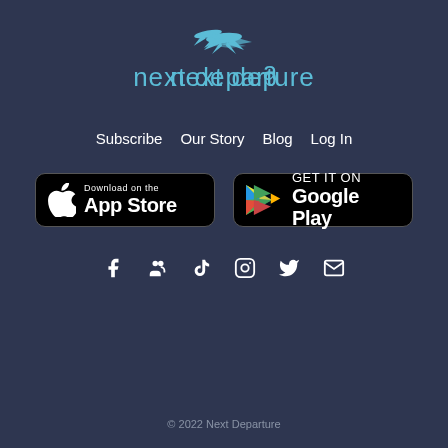[Figure (logo): Next Departure logo with airplane icon and teal text]
Subscribe   Our Story   Blog   Log In
[Figure (infographic): App Store and Google Play download badges side by side]
[Figure (infographic): Social media icons: Facebook, groups, TikTok, Instagram, Twitter, Email]
© 2022 Next Departure